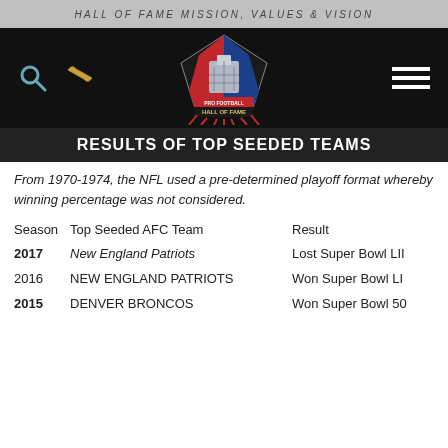HALL OF FAME MISSION, VALUES & VISION
[Figure (logo): Pro Football Hall of Fame logo with search icon, ticket icon, and hamburger menu on black navigation bar]
RESULTS OF TOP SEEDED TEAMS
From 1970-1974, the NFL used a pre-determined playoff format whereby winning percentage was not considered.
| Season | Top Seeded AFC Team | Result |
| --- | --- | --- |
| 2017 | New England Patriots | Lost Super Bowl LII |
| 2016 | NEW ENGLAND PATRIOTS | Won Super Bowl LI |
| 2015 | DENVER BRONCOS | Won Super Bowl 50 |